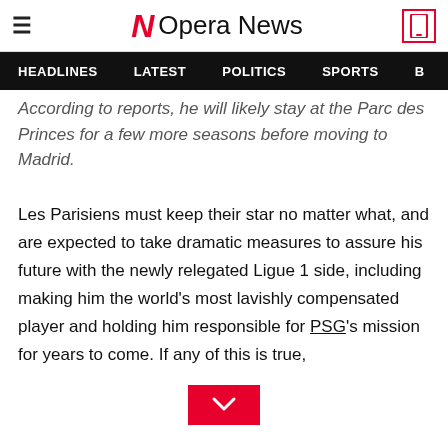Opera News
HEADLINES  LATEST  POLITICS  SPORTS
According to reports, he will likely stay at the Parc des Princes for a few more seasons before moving to Madrid.
Les Parisiens must keep their star no matter what, and are expected to take dramatic measures to assure his future with the newly relegated Ligue 1 side, including making him the world's most lavishly compensated player and holding him responsible for PSG's mission for years to come. If any of this is true,